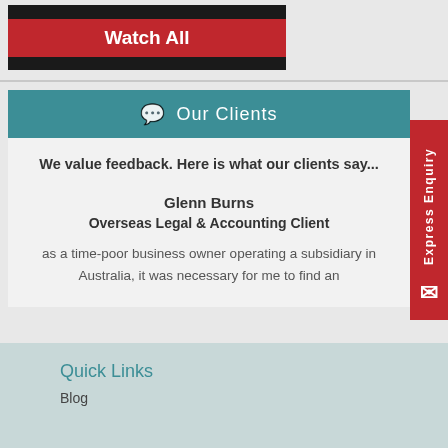[Figure (screenshot): Dark background block with a red 'Watch All' button]
Our Clients
We value feedback. Here is what our clients say...
Glenn Burns
Overseas Legal & Accounting Client
as a time-poor business owner operating a subsidiary in Australia, it was necessary for me to find an
Quick Links
Blog